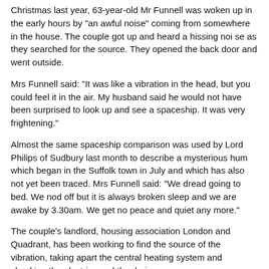Christmas last year, 63-year-old Mr Funnell was woken up in the early hours by "an awful noise" coming from somewhere in the house. The couple got up and heard a hissing noise as they searched for the source. They opened the back door and went outside.
Mrs Funnell said: "It was like a vibration in the head, but you could feel it in the air. My husband said he would not have been surprised to look up and see a spaceship. It was very frightening."
Almost the same spaceship comparison was used by Lord Philips of Sudbury last month to describe a mysterious hum which began in the Suffolk town in July and which has also not yet been traced. Mrs Funnell said: "We dread going to bed. We nod off but it is always broken sleep and we are awake by 3.30am. We get no peace and quiet any more."
The couple's landlord, housing association London and Quadrant, has been working to find the source of the vibration, taking apart the central heating system and checking the electrics and the drains...